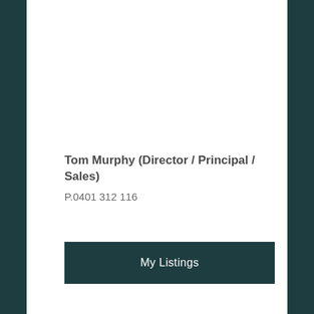Tom Murphy (Director / Principal / Sales)
P.0401 312 116
My Listings